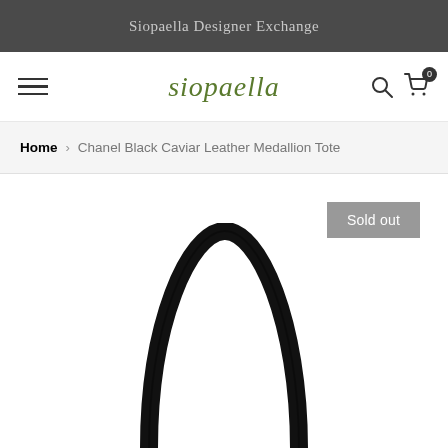Siopaella Designer Exchange
siopaella
Home > Chanel Black Caviar Leather Medallion Tote
Sold out
[Figure (photo): Black Chanel caviar leather tote bag with double handles, top view showing the arch of the handles against white background]